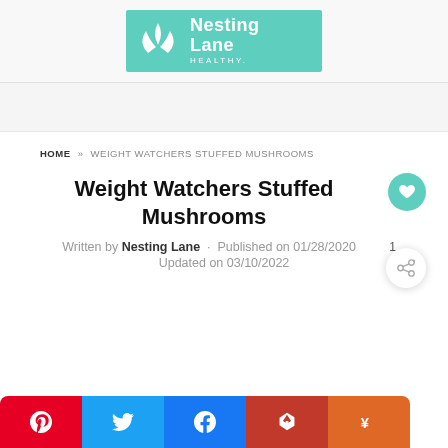[Figure (logo): Nesting Lane Healthy logo — teal green rectangle with white leaf/flower icon and white text 'Nesting Lane HEALTHY.']
HOME » WEIGHT WATCHERS STUFFED MUSHROOMS
Weight Watchers Stuffed Mushrooms
Written by Nesting Lane · Published on 01/28/2020 1
Updated on 03/10/2022